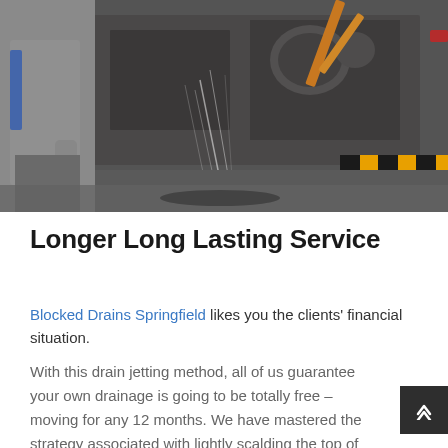[Figure (photo): A worker in grey overalls standing next to heavy drainage/jetting equipment. Water is spraying from the machinery. Yellow and orange hazard markings visible on the equipment. Industrial outdoor setting.]
Longer Long Lasting Service
Blocked Drains Springfield likes you the clients' financial situation.
With this drain jetting method, all of us guarantee your own drainage is going to be totally free – moving for any 12 months. We have mastered the strategy associated with lightly scalding the top of the plumbing, which makes it